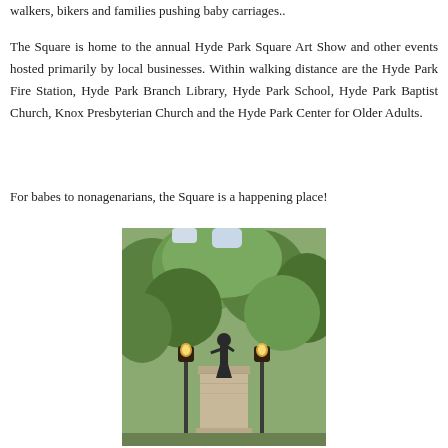walkers, bikers and families pushing baby carriages..
The Square is home to the annual Hyde Park Square Art Show and other events hosted primarily by local businesses. Within walking distance are the Hyde Park Fire Station, Hyde Park Branch Library, Hyde Park School, Hyde Park Baptist Church, Knox Presbyterian Church and the Hyde Park Center for Older Adults.
For babes to nonagenarians, the Square is a happening place!
[Figure (photo): A bronze statue of a female figure standing on a tall stone pedestal, flanked by two ornate lamp posts with glowing lights, surrounded by green trees in the background. Hyde Park Square monument.]